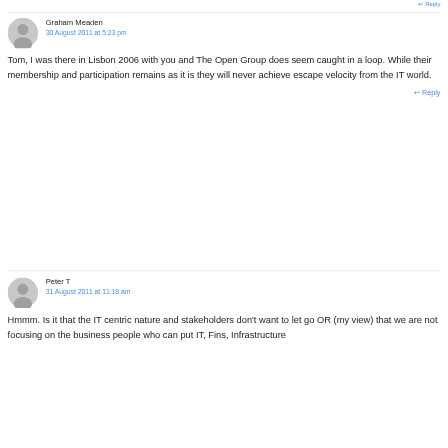↩ Reply
Graham Meaden
30 August 2011 at 5:23 pm
Tom, I was there in Lisbon 2006 with you and The Open Group does seem caught in a loop. While their membership and participation remains as it is they will never achieve escape velocity from the IT world.
↩ Reply
Peter T
31 August 2011 at 11:18 am
Hmmm. Is it that the IT centric nature and stakeholders don't want to let go OR (my view) that we are not focusing on the business people who can put IT, Fins, Infrastructure